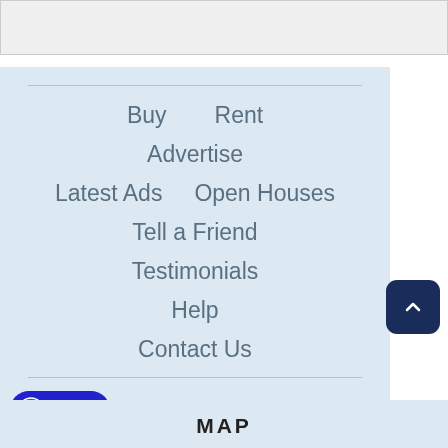[Figure (screenshot): Top gray bar / header area]
Buy
Rent
Advertise
Latest Ads
Open Houses
Tell a Friend
Testimonials
Help
Contact Us
CHAT
MAP